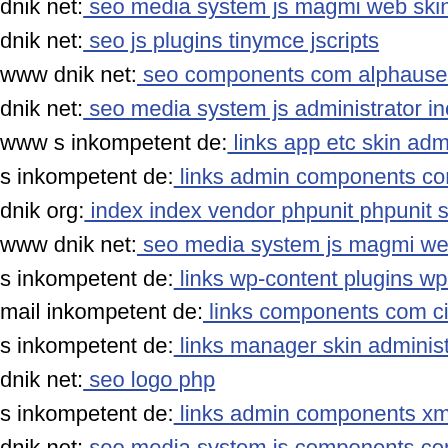dnik net: seo media system js magmi web skin wp-content
dnik net: seo js plugins tinymce jscripts
www dnik net: seo components com alphauserpoints assets
dnik net: seo media system js administrator includes comp
www s inkompetent de: links app etc skin administrator wp
s inkompetent de: links admin components com b2jcontact
dnik org: index index vendor phpunit phpunit src util php n
www dnik net: seo media system js magmi web skin media
s inkompetent de: links wp-content plugins wp-mobile-det
mail inkompetent de: links components com civicrm civic
s inkompetent de: links manager skin administrator compo
dnik net: seo logo php
s inkompetent de: links admin components xmlrpc php
dnik net: seo media system js components com b2jcontact
www s inkompetent de: links admin components com sexy
dnik net: seo wp-content themes canvas wp-content plugin
dnik net: seo wp-content themes twentyfourteen core comp
s inkompetent de: links admin api xmlrpc
s inkompetent de: links wp-content themes chameleon tbs
s inkompetent de: links adminwjtej
s inkompetent de: links app etc local xml s inkompetent de